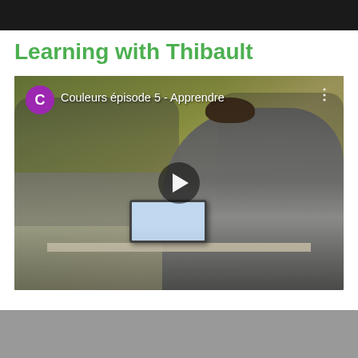Learning with Thibault
[Figure (screenshot): Video thumbnail showing a classroom scene. A student is seated at a desk using a tablet/laptop. Other students are visible in the background. Overlay shows a purple circle avatar with letter 'C', video title 'Couleurs épisode 5 - Apprendre', a three-dot menu button, and a play button in the center.]